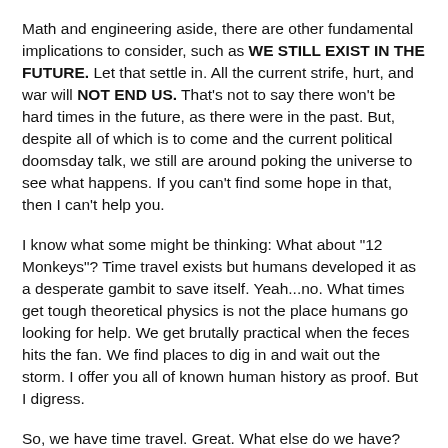Math and engineering aside, there are other fundamental implications to consider, such as WE STILL EXIST IN THE FUTURE. Let that settle in. All the current strife, hurt, and war will NOT END US. That's not to say there won't be hard times in the future, as there were in the past. But, despite all of which is to come and the current political doomsday talk, we still are around poking the universe to see what happens. If you can't find some hope in that, then I can't help you.
I know what some might be thinking: What about "12 Monkeys"? Time travel exists but humans developed it as a desperate gambit to save itself. Yeah...no. What times get tough theoretical physics is not the place humans go looking for help. We get brutally practical when the feces hits the fan. We find places to dig in and wait out the storm. I offer you all of known human history as proof. But I digress.
So, we have time travel. Great. What else do we have? TOURISM! People have free time in the future! Extended leisure time is only available in cultures where most basic needs are met. Depressions, famines, plagues, and environmental upheavals are not good for the tourism